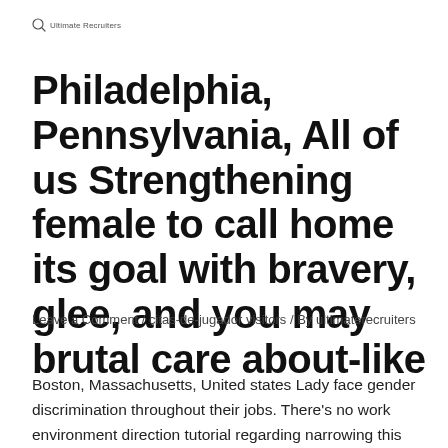Ultimate Recruiters
Philadelphia, Pennsylvania, All of us Strengthening female to call home its goal with bravery, glee, and you may brutal care about-like
Leave a Comment / citas-de-jugador visitors / By ultimaterecruiters
Boston, Massachusetts, United states Lady face gender discrimination throughout their jobs. There's no work environment direction tutorial regarding narrowing this